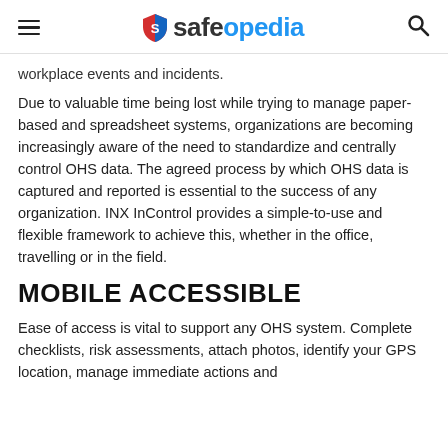safeopedia
workplace events and incidents.
Due to valuable time being lost while trying to manage paper-based and spreadsheet systems, organizations are becoming increasingly aware of the need to standardize and centrally control OHS data. The agreed process by which OHS data is captured and reported is essential to the success of any organization. INX InControl provides a simple-to-use and flexible framework to achieve this, whether in the office, travelling or in the field.
MOBILE ACCESSIBLE
Ease of access is vital to support any OHS system. Complete checklists, risk assessments, attach photos, identify your GPS location, manage immediate actions and